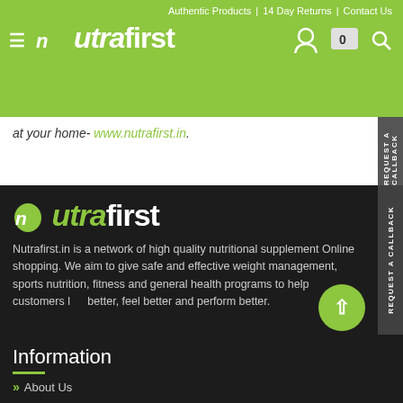Authentic Products | 14 Day Returns | Contact Us
[Figure (logo): Nutrafirst logo with hamburger menu icon on green navigation bar]
at your home- www.nutrafirst.in.
[Figure (logo): Nutrafirst logo on dark background]
Nutrafirst.in is a network of high quality nutritional supplement Online shopping. We aim to give safe and effective weight management, sports nutrition, fitness and general health programs to help customers live better, feel better and perform better.
Information
» About Us